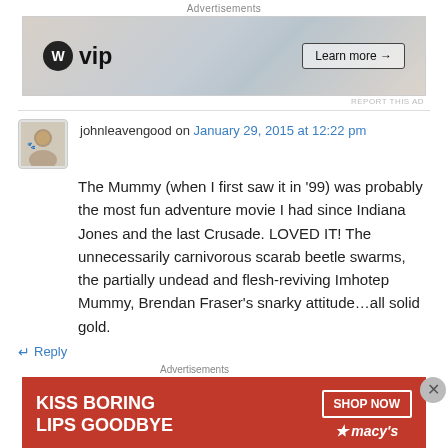Advertisements
[Figure (screenshot): WordPress VIP advertisement banner with WP logo, slack, Facebook branding, and Learn more button]
REPORT THIS AD
johnleavengood on January 29, 2015 at 12:22 pm
The Mummy (when I first saw it in '99) was probably the most fun adventure movie I had since Indiana Jones and the last Crusade. LOVED IT! The unnecessarily carnivorous scarab beetle swarms, the partially undead and flesh-reviving Imhotep Mummy, Brendan Fraser's snarky attitude…all solid gold.
Reply
Advertisements
[Figure (screenshot): Macy's advertisement: KISS BORING LIPS GOODBYE with SHOP NOW button and Macy's star logo]